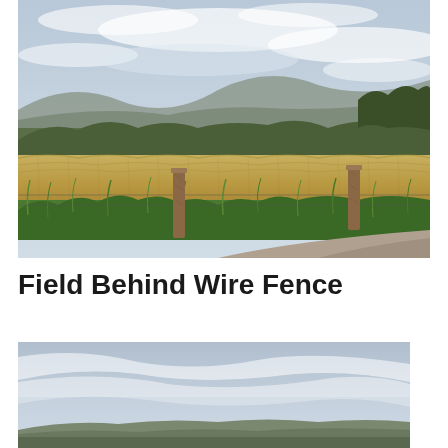[Figure (photo): Outdoor countryside landscape photo showing a golden wheat/barley field in the foreground with green grass and two wooden fence posts, rolling hills and green trees in the middle distance, and a cloudy sky above. A dirt path is visible in the lower right corner.]
Field Behind Wire Fence
[Figure (photo): Outdoor landscape photo showing a wide panoramic view with a light blue-grey cloudy sky taking up most of the frame, with distant rolling hills and a hint of green landscape visible near the bottom of the image.]